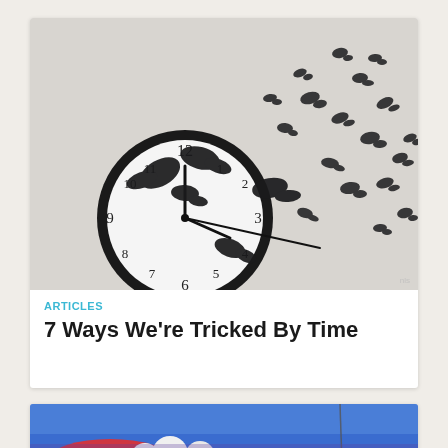[Figure (photo): Black butterflies flying off a round black clock face against a white background]
ARTICLES
7 Ways We're Tricked By Time
[Figure (photo): Colorful scene with red and white objects against a blue sky background, partially visible]